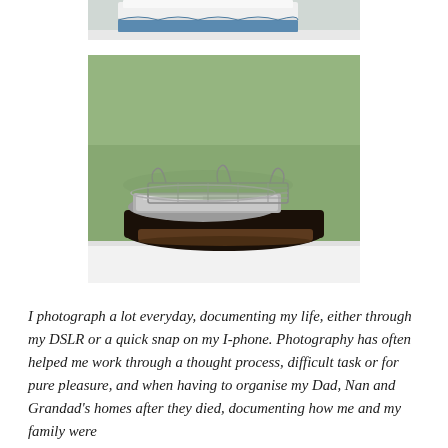[Figure (photo): Partial photo at top showing folded laundry or fabric items in blue and white tones against a light background, cropped at top of page.]
[Figure (photo): Photo of kitchen/baking trays and a wire rack stacked on a dark tray, placed on a white surface against a green wall background.]
I photograph a lot everyday, documenting my life, either through my DSLR or a quick snap on my I-phone. Photography has often helped me work through a thought process, difficult task or for pure pleasure, and when having to organise my Dad, Nan and Grandad's homes after they died, documenting how me and my family were